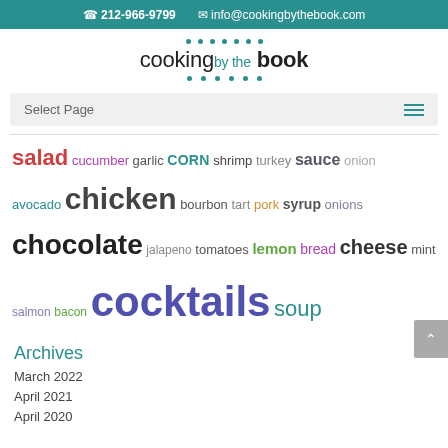212-966-9799  info@cookingbythebook.com
[Figure (logo): Cooking by the Book logo with teal dots above and below the text]
Select Page
salad cucumber garlic corn shrimp turkey sauce onion avocado chicken bourbon tart pork syrup onions chocolate jalapeno tomatoes lemon bread cheese mint salmon bacon cocktails soup
Archives
March 2022
April 2021
April 2020